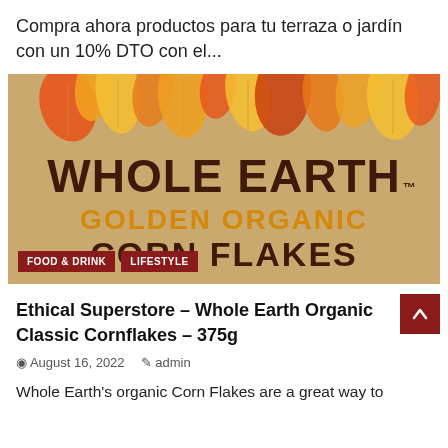Compra ahora productos para tu terraza o jardín con un 10% DTO con el...
[Figure (photo): Whole Earth Golden Organic Corn Flakes cereal box packaging with autumn leaf illustration on kraft paper background. Red badges reading 'FOOD & DRINK' and 'LIFESTYLE' overlaid at bottom left.]
Ethical Superstore – Whole Earth Organic Classic Cornflakes – 375g
August 16, 2022   admin
Whole Earth's organic Corn Flakes are a great way to